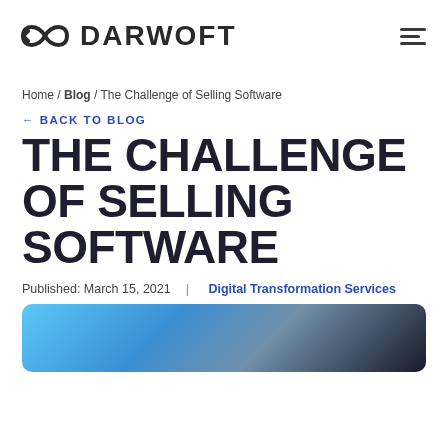DARWOFT
Home / Blog / The Challenge of Selling Software
← BACK TO BLOG
THE CHALLENGE OF SELLING SOFTWARE
Published: March 15, 2021  |  Digital Transformation Services
[Figure (photo): Hero image showing a person with headphones in a dark tech environment with blue lighting]